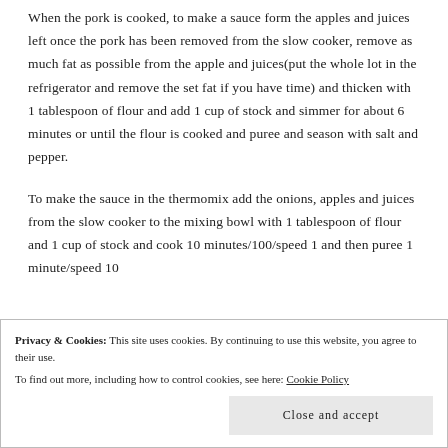When the pork is cooked, to make a sauce form the apples and juices left once the pork has been removed from the slow cooker, remove as much fat as possible from the apple and juices(put the whole lot in the refrigerator and remove the set fat if you have time) and thicken with 1 tablespoon of flour and add 1 cup of stock and simmer for about 6 minutes or until the flour is cooked and puree and season with salt and pepper.
To make the sauce in the thermomix add the onions, apples and juices from the slow cooker to the mixing bowl with 1 tablespoon of flour and 1 cup of stock and cook 10 minutes/100/speed 1 and then puree 1 minute/speed 10
Privacy & Cookies: This site uses cookies. By continuing to use this website, you agree to their use. To find out more, including how to control cookies, see here: Cookie Policy